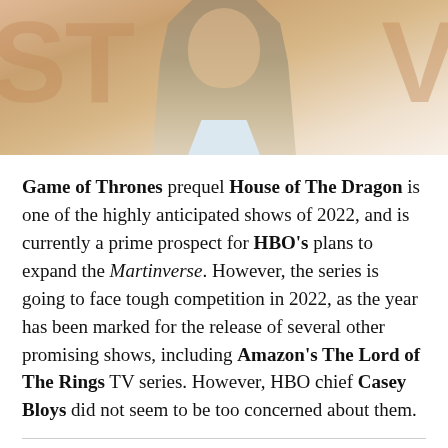[Figure (photo): A man in a grey blazer and light blue shirt photographed at an event, with large letters visible in the background.]
Game of Thrones prequel House of The Dragon is one of the highly anticipated shows of 2022, and is currently a prime prospect for HBO's plans to expand the Martinverse. However, the series is going to face tough competition in 2022, as the year has been marked for the release of several other promising shows, including Amazon's The Lord of The Rings TV series. However, HBO chief Casey Bloys did not seem to be too concerned about them.
[Figure (screenshot): A black bar (possibly a video player or redacted content) followed by a grey area below.]